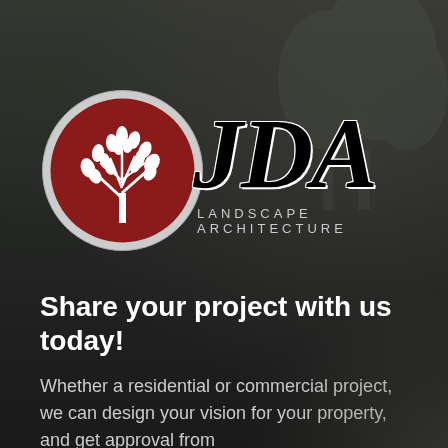[Figure (logo): JDA Landscape Architecture logo — a circular red emblem with a white tree illustration, next to large bold black letters 'JDA' with 'LANDSCAPE ARCHITECTURE' in spaced gray text below]
Share your project with us today!
Whether a residential or commercial project, we can design your vision for your property, and get approval from